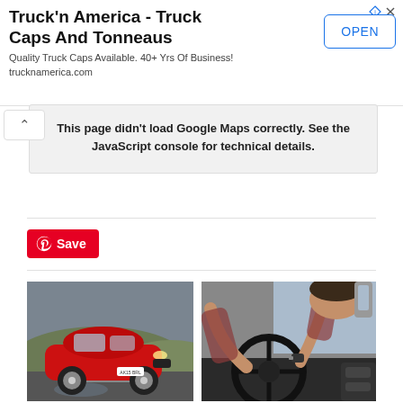[Figure (screenshot): Advertisement banner for Truck'n America - Truck Caps And Tonneaus with OPEN button]
Truck'n America - Truck Caps And Tonneaus
Quality Truck Caps Available. 40+ Yrs Of Business! trucknamerica.com
[Figure (screenshot): Google Maps error message: This page didn't load Google Maps correctly. See the JavaScript console for technical details.]
[Figure (other): Pinterest Save button in red]
[Figure (photo): Photo of a red Audi TT sports car on a road with hills in background]
[Figure (photo): Photo of a person driving a car, hands on steering wheel, interior view]